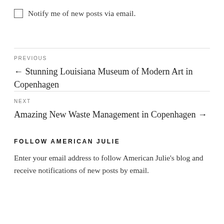Notify me of new posts via email.
PREVIOUS
← Stunning Louisiana Museum of Modern Art in Copenhagen
NEXT
Amazing New Waste Management in Copenhagen →
FOLLOW AMERICAN JULIE
Enter your email address to follow American Julie's blog and receive notifications of new posts by email.